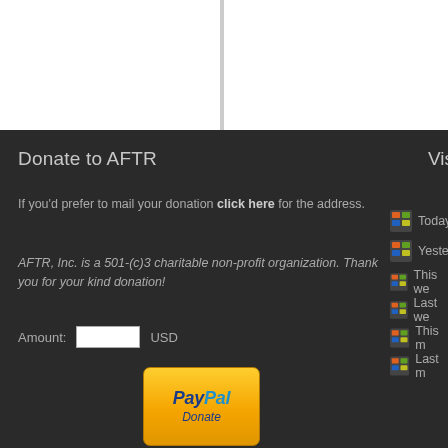Donate to AFTR
If you'd prefer to mail your donation click here for the address.
AFTR, Inc. is a 501-(c)3 charitable non-profit organization. Thank you for your kind donation!
Amount:  USD
[Figure (logo): PayPal Donate button - orange/yellow rounded rectangle with PayPal logo and Donate text]
Visitors Cou...
Today
Yesterday
This we...
Last we...
This m...
Last m...
©Copyright 2010-2022 All Rights Reserved. • 888-FOX-TERR American Fox Te...